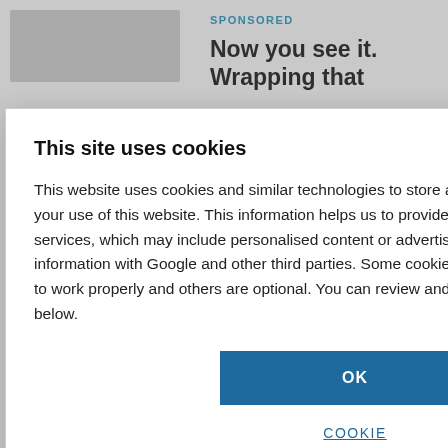[Figure (screenshot): Background webpage content partially visible behind a cookie consent modal dialog. Shows 'SPONSORED' label, partial headline 'Now you see it... Wrapping that', 'KURARAY' brand mention, partial article title with 'stainable', and partial article below with 'd process', 'ycled resins for', 'y', 'ONSORED BY', 'BY SARAH'.]
This site uses cookies
This website uses cookies and similar technologies to store and retrieve information about your use of this website. This information helps us to provide, analyse and improve our services, which may include personalised content or advertising. We may share this information with Google and other third parties. Some cookies are necessary for our website to work properly and others are optional. You can review and configure your cookie settings below.
OK
COOKIE SETTINGS